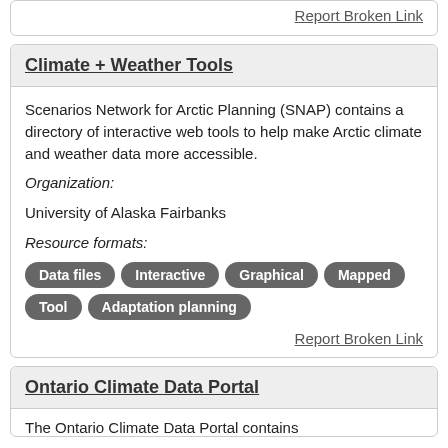Report Broken Link
Climate + Weather Tools
Scenarios Network for Arctic Planning (SNAP) contains a directory of interactive web tools to help make Arctic climate and weather data more accessible.
Organization:
University of Alaska Fairbanks
Resource formats:
Data files
Interactive
Graphical
Mapped
Tool
Adaptation planning
Report Broken Link
Ontario Climate Data Portal
The Ontario Climate Data Portal contains